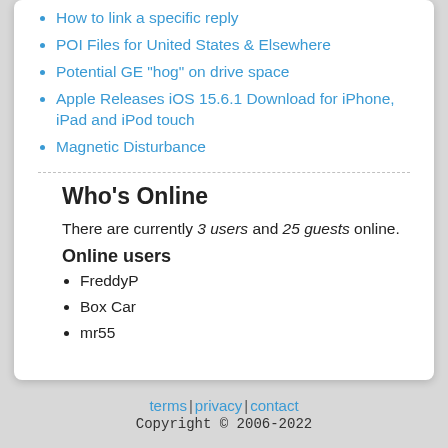How to link a specific reply
POI Files for United States & Elsewhere
Potential GE "hog" on drive space
Apple Releases iOS 15.6.1 Download for iPhone, iPad and iPod touch
Magnetic Disturbance
Who's Online
There are currently 3 users and 25 guests online.
Online users
FreddyP
Box Car
mr55
terms | privacy | contact
Copyright © 2006-2022